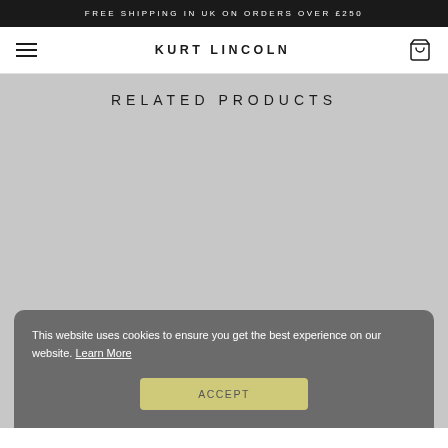FREE SHIPPING IN UK ON ORDERS OVER £250
KURT LINCOLN
RELATED PRODUCTS
This website uses cookies to ensure you get the best experience on our website. Learn More
Accept